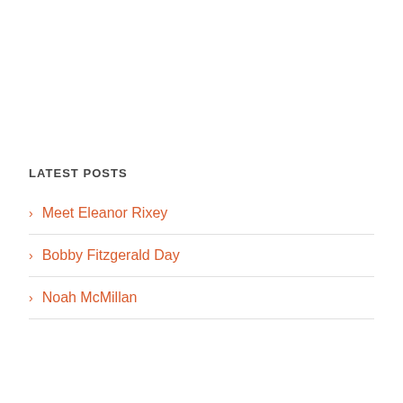LATEST POSTS
Meet Eleanor Rixey
Bobby Fitzgerald Day
Noah McMillan